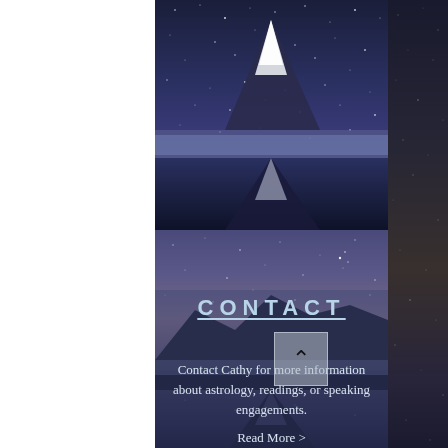[Figure (illustration): Night sky mountain and lake reflection scene — a snow-capped mountain with a starry blue-purple sky, with a mirror reflection in a lake below. This forms the background of the center panel.]
CONTACT
Contact Cathy for more information about astrology, readings, or speaking engagements.
Read More >